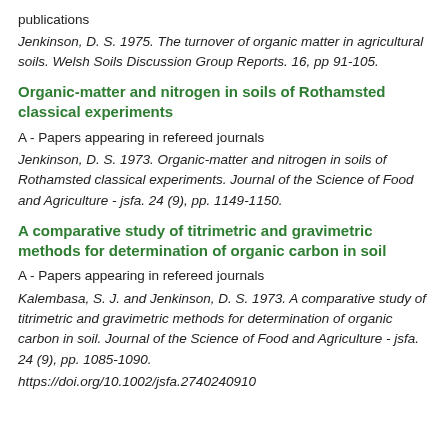publications
Jenkinson, D. S. 1975. The turnover of organic matter in agricultural soils. Welsh Soils Discussion Group Reports. 16, pp 91-105.
Organic-matter and nitrogen in soils of Rothamsted classical experiments
A - Papers appearing in refereed journals
Jenkinson, D. S. 1973. Organic-matter and nitrogen in soils of Rothamsted classical experiments. Journal of the Science of Food and Agriculture - jsfa. 24 (9), pp. 1149-1150.
A comparative study of titrimetric and gravimetric methods for determination of organic carbon in soil
A - Papers appearing in refereed journals
Kalembasa, S. J. and Jenkinson, D. S. 1973. A comparative study of titrimetric and gravimetric methods for determination of organic carbon in soil. Journal of the Science of Food and Agriculture - jsfa. 24 (9), pp. 1085-1090.
https://doi.org/10.1002/jsfa.2740240910